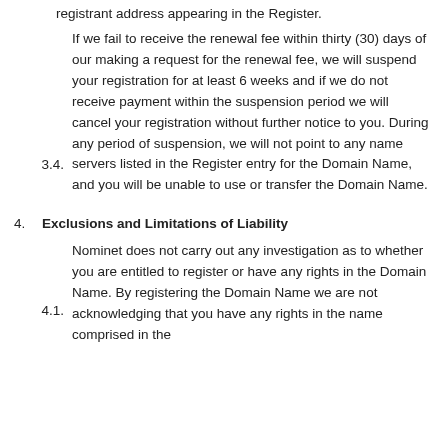3.4. If we fail to receive the renewal fee within thirty (30) days of our making a request for the renewal fee, we will suspend your registration for at least 6 weeks and if we do not receive payment within the suspension period we will cancel your registration without further notice to you. During any period of suspension, we will not point to any name servers listed in the Register entry for the Domain Name, and you will be unable to use or transfer the Domain Name.
4. Exclusions and Limitations of Liability
4.1. Nominet does not carry out any investigation as to whether you are entitled to register or have any rights in the Domain Name. By registering the Domain Name we are not acknowledging that you have any rights in the name comprised in the